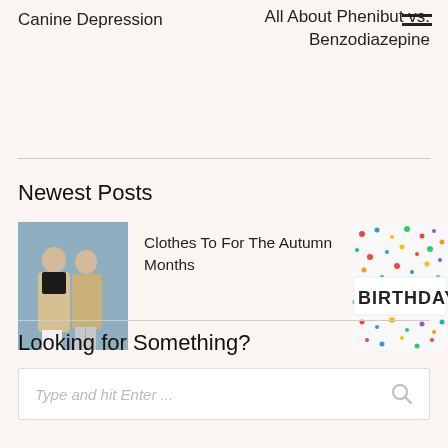Canine Depression
All About Phenibut vs. Benzodiazepine
Newest Posts
[Figure (photo): Two people wearing autumn coats standing against a grey-blue background]
Clothes To For The Autumn Months
[Figure (photo): Birthday cake with BIRTH DAY lettering and colorful confetti sprinkles]
Looking for Something?
Type and hit Enter ...